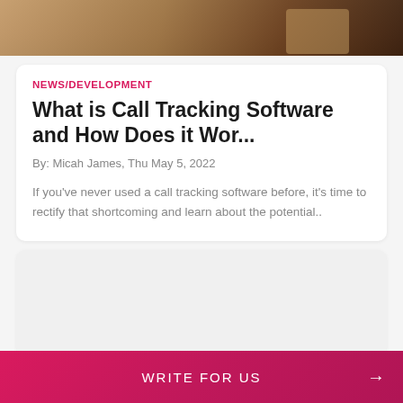[Figure (photo): Close-up photo of a person holding a mobile phone, cropped at top of page]
NEWS/DEVELOPMENT
What is Call Tracking Software and How Does it Wor...
By: Micah James, Thu May 5, 2022
If you've never used a call tracking software before, it's time to rectify that shortcoming and learn about the potential..
[Figure (other): Empty grey card placeholder]
WRITE FOR US